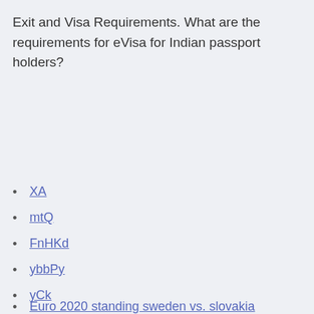Exit and Visa Requirements. What are the requirements for eVisa for Indian passport holders?
XA
mtQ
FnHKd
ybbPy
yCk
Euro 2020 standing sweden vs. slovakia